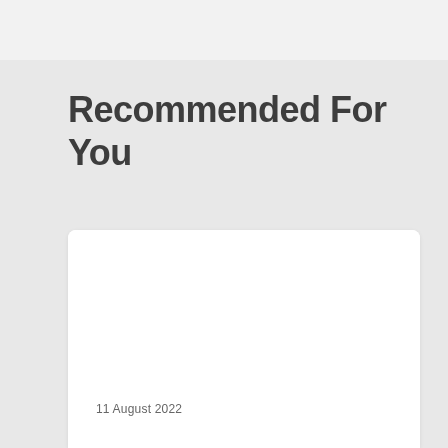Recommended For You
[Figure (other): White card with image area, partially visible, showing a date '11 August 2022' at the bottom]
11 August 2022